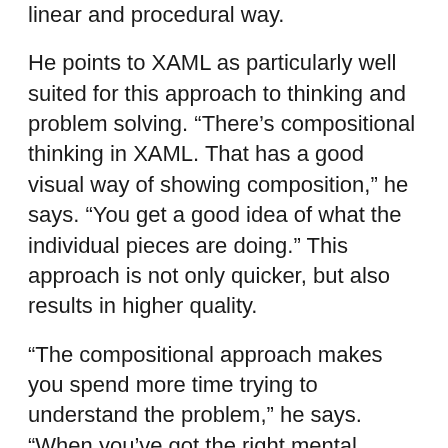linear and procedural way.
He points to XAML as particularly well suited for this approach to thinking and problem solving. “There’s compositional thinking in XAML. That has a good visual way of showing composition,” he says. “You get a good idea of what the individual pieces are doing.” This approach is not only quicker, but also results in higher quality.
“The compositional approach makes you spend more time trying to understand the problem,” he says. “When you’ve got the right mental model, solving problems will be much faster and easier.”
The next Visual Studio Live! events will be